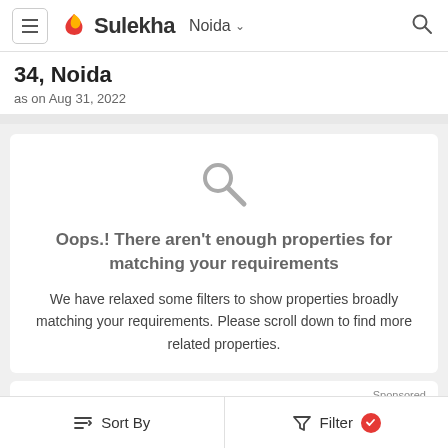Sulekha Noida
34, Noida
as on Aug 31, 2022
[Figure (screenshot): Large search magnifying glass icon in gray]
Oops.! There aren't enough properties for matching your requirements
We have relaxed some filters to show properties broadly matching your requirements. Please scroll down to find more related properties.
Sponsored
250 Sq Yards Plots & Land for
Sort By   Filter